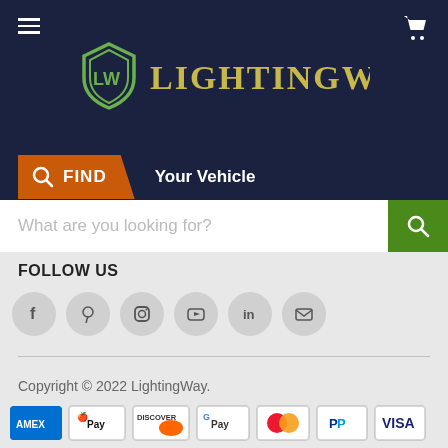[Figure (logo): LightingWay logo with shield icon (LW) and company name in gold on dark navy background]
FIND Your Vehicle
What are you looking for?
FOLLOW US
[Figure (infographic): Social media icons: Facebook, Pinterest, Instagram, YouTube, LinkedIn, Email]
Copyright © 2022 LightingWay.
[Figure (infographic): Payment method logos: AMEX, Apple Pay, Discover, Google Pay, Mastercard, PayPal, VISA]